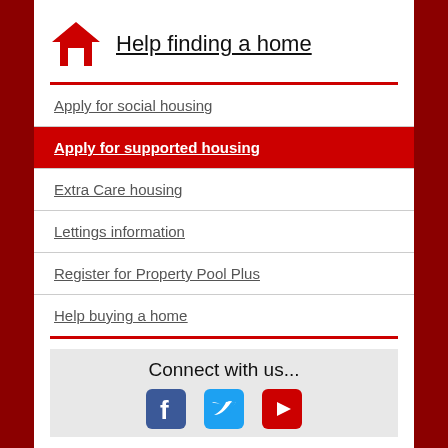Help finding a home
Apply for social housing
Apply for supported housing
Extra Care housing
Lettings information
Register for Property Pool Plus
Help buying a home
Connect with us...
[Figure (logo): Facebook, Twitter, and YouTube social media icons]